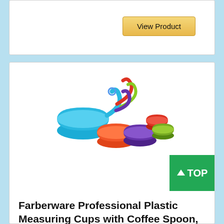[Figure (other): View Product button - golden/yellow gradient button]
[Figure (photo): Farberware Professional Plastic Measuring Cups set of 5 in multiple colors: blue, orange, purple, red, green]
[Figure (other): Green TOP button with upward arrow]
Farberware Professional Plastic Measuring Cups with Coffee Spoon, Set of 5, Colors may vary